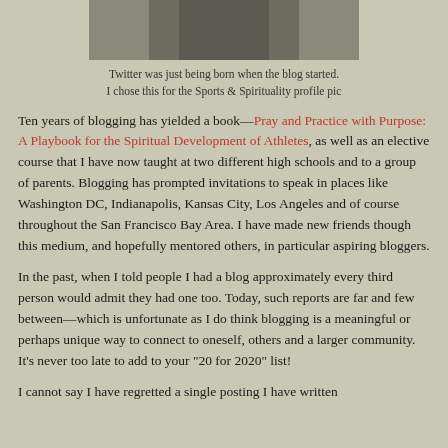[Figure (photo): Partial photo of a woman in a black top, cropped at top of page]
Twitter was just being born when the blog started. I chose this for the Sports & Spirituality profile pic
Ten years of blogging has yielded a book—Pray and Practice with Purpose: A Playbook for the Spiritual Development of Athletes, as well as an elective course that I have now taught at two different high schools and to a group of parents. Blogging has prompted invitations to speak in places like Washington DC, Indianapolis, Kansas City, Los Angeles and of course throughout the San Francisco Bay Area. I have made new friends though this medium, and hopefully mentored others, in particular aspiring bloggers.
In the past, when I told people I had a blog approximately every third person would admit they had one too. Today, such reports are far and few between—which is unfortunate as I do think blogging is a meaningful or perhaps unique way to connect to oneself, others and a larger community. It's never too late to add to your "20 for 2020" list!
I cannot say I have regretted a single posting I have written